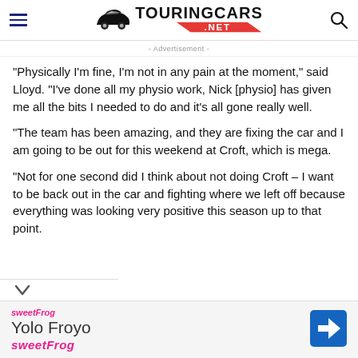TouringCars.NET
- Advertisement -
“Physically I’m fine, I’m not in any pain at the moment,” said Lloyd. “I’ve done all my physio work, Nick [physio] has given me all the bits I needed to do and it’s all gone really well.
“The team has been amazing, and they are fixing the car and I am going to be out for this weekend at Croft, which is mega.
“Not for one second did I think about not doing Croft – I want to be back out in the car and fighting where we left off because everything was looking very positive this season up to that point.
[Figure (logo): Yolo Froyo sweetFrog advertisement banner at the bottom of the page]